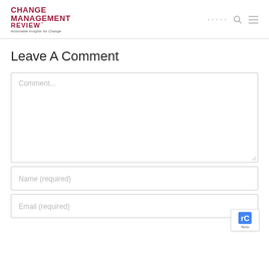CHANGE MANAGEMENT REVIEW™ — Actionable Insights for Change
Leave A Comment
Comment...
Name (required)
Email (required)